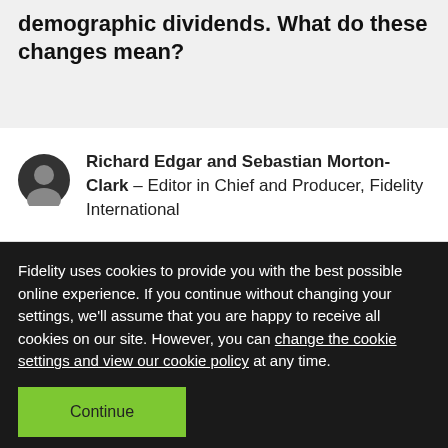demographic dividends. What do these changes mean?
Richard Edgar and Sebastian Morton-Clark – Editor in Chief and Producer, Fidelity International
Fidelity uses cookies to provide you with the best possible online experience. If you continue without changing your settings, we'll assume that you are happy to receive all cookies on our site. However, you can change the cookie settings and view our cookie policy at any time.
Continue